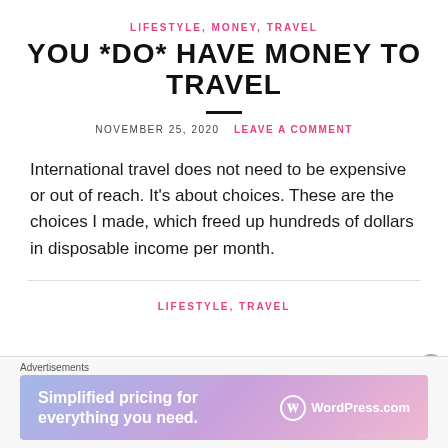LIFESTYLE, MONEY, TRAVEL
YOU *DO* HAVE MONEY TO TRAVEL
NOVEMBER 25, 2020   LEAVE A COMMENT
International travel does not need to be expensive or out of reach. It's about choices. These are the choices I made, which freed up hundreds of dollars in disposable income per month.
LIFESTYLE, TRAVEL
[Figure (other): WordPress.com advertisement banner: 'Simplified pricing for everything you need.']